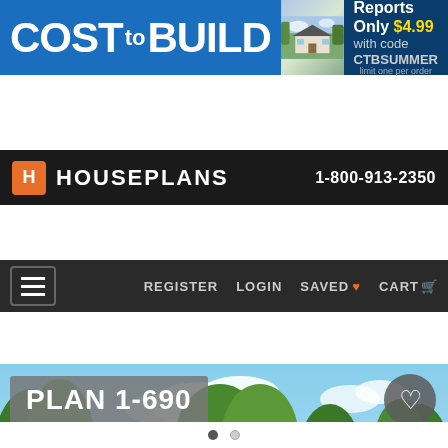[Figure (screenshot): Cost to Build banner advertisement with house photo, 'Reports Only $4.99 with code CTBSUMMER' offer]
HOUSEPLANS  1-800-913-2350
REGISTER  LOGIN  SAVED  CART
[Figure (photo): 3D rendering of Plan 1-690 house exterior, a large ranch-style home with dormers, arched entryway, green lawn and yellow flowers in foreground. Promo Codes tab on left side. Heart favorite button top right.]
Photographs may show modified designs.